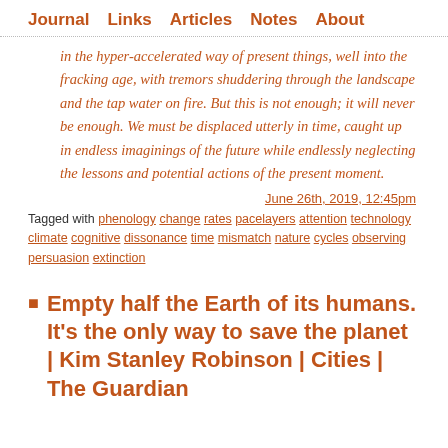Journal  Links  Articles  Notes  About
in the hyper-accelerated way of present things, well into the fracking age, with tremors shuddering through the landscape and the tap water on fire. But this is not enough; it will never be enough. We must be displaced utterly in time, caught up in endless imaginings of the future while endlessly neglecting the lessons and potential actions of the present moment.
June 26th, 2019, 12:45pm
Tagged with phenology change rates pacelayers attention technology climate cognitive dissonance time mismatch nature cycles observing persuasion extinction
Empty half the Earth of its humans. It's the only way to save the planet | Kim Stanley Robinson | Cities | The Guardian